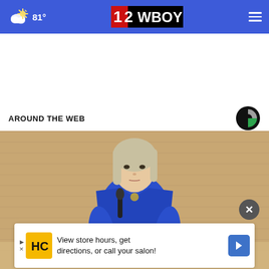81° | 12WBOY
AROUND THE WEB
[Figure (photo): Woman with blonde hair in blue blazer speaking at a podium, wooden wall background]
View store hours, get directions, or call your salon!